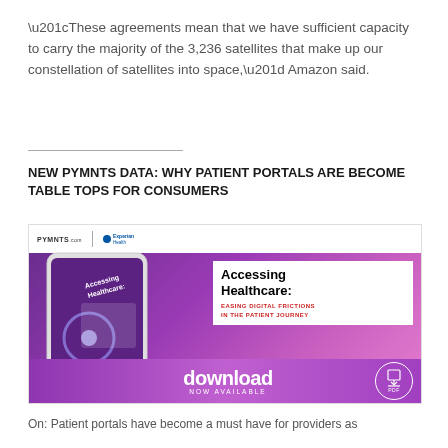“These agreements mean that we have sufficient capacity to carry the majority of the 3,236 satellites that make up our constellation of satellites into space,” Amazon said.
[Figure (infographic): Accessing Healthcare: Easing Digital Frictions in the Patient Journey — PYMNTS.com and Experian Health promotional banner with a tablet displaying the report cover, download now available button]
NEW PYMNTS DATA: WHY PATIENT PORTALS ARE BECOME TABLE TOPS FOR CONSUMERS
On: Patient portals have become a must have for providers as